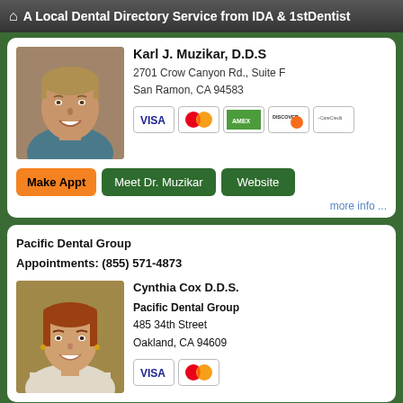A Local Dental Directory Service from IDA & 1stDentist
Karl J. Muzikar, D.D.S
2701 Crow Canyon Rd., Suite F
San Ramon, CA 94583
[Figure (photo): Headshot of male dentist Karl J. Muzikar, smiling, wearing a patterned shirt]
[Figure (other): Payment card icons: VISA, MasterCard, American Express, Discover, CareCredit]
Make Appt | Meet Dr. Muzikar | Website
more info ...
Pacific Dental Group
Appointments: (855) 571-4873
[Figure (photo): Headshot of female dentist Cynthia Cox, smiling, red hair]
Cynthia Cox D.D.S.
Pacific Dental Group
485 34th Street
Oakland, CA 94609
[Figure (other): Payment card icons: VISA, MasterCard]